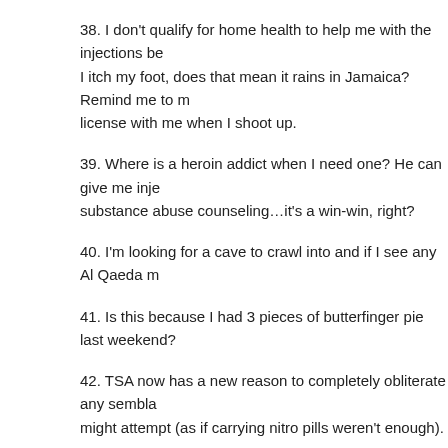38. I don't qualify for home health to help me with the injections be... I itch my foot, does that mean it rains in Jamaica? Remind me to m... license with me when I shoot up.
39. Where is a heroin addict when I need one? He can give me inje... substance abuse counseling…it's a win-win, right?
40. I'm looking for a cave to crawl into and if I see any Al Qaeda m...
41. Is this because I had 3 pieces of butterfinger pie last weekend?
42. TSA now has a new reason to completely obliterate any sembla... might attempt (as if carrying nitro pills weren't enough).
43. I used to have a phobia about mice.
44. My self esteem went on my Hawaiian vacation without me. It ha... volcano.  Of course, TSA could confiscate its camera.
45. I have the greatest friends and family. Thanks for all of the pray...